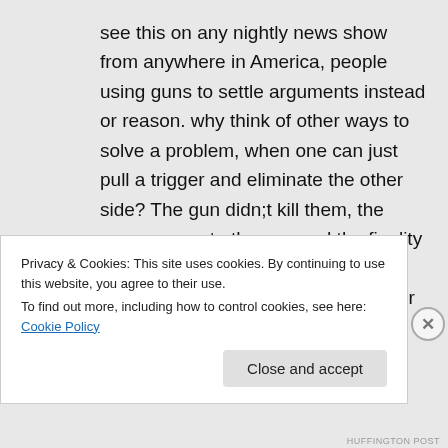see this on any nightly news show from anywhere in America, people using guns to settle arguments instead or reason. why think of other ways to solve a problem, when one can just pull a trigger and eliminate the other side? The gun didn;t kill them, the easy access to the gun and the finality to the solutions that guns provide, creates easy and horrific solutions for people not thinking correctly.
Privacy & Cookies: This site uses cookies. By continuing to use this website, you agree to their use.
To find out more, including how to control cookies, see here: Cookie Policy
Close and accept